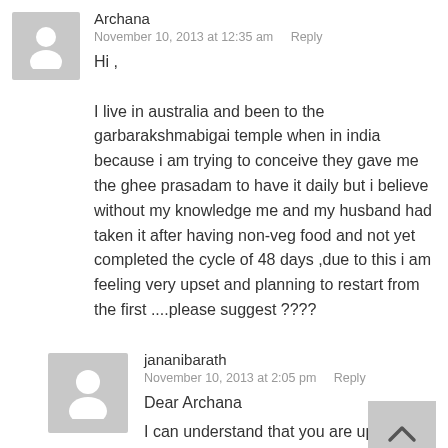Archana
November 10, 2013 at 12:35 am   Reply
Hi ,

I live in australia and been to the garbarakshmabigai temple when in india because i am trying to conceive they gave me the ghee prasadam to have it daily but i believe without my knowledge me and my husband had taken it after having non-veg food and not yet completed the cycle of 48 days ,due to this i am feeling very upset and planning to restart from the first ....please suggest ????
jananibarath
November 10, 2013 at 2:05 pm   Reply
Dear Archana
I can understand that you are upset at not...